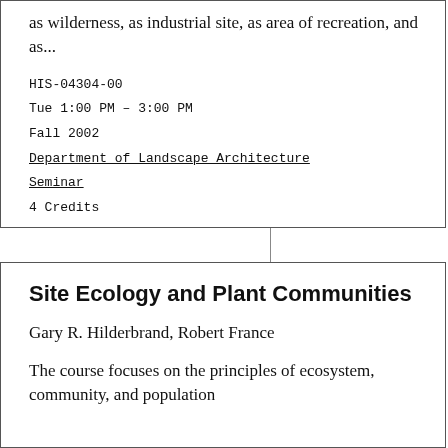as wilderness, as industrial site, as area of recreation, and as...
HIS-04304-00
Tue 1:00 PM – 3:00 PM
Fall 2002
Department of Landscape Architecture
Seminar
4 Credits
Site Ecology and Plant Communities
Gary R. Hilderbrand, Robert France
The course focuses on the principles of ecosystem, community, and population